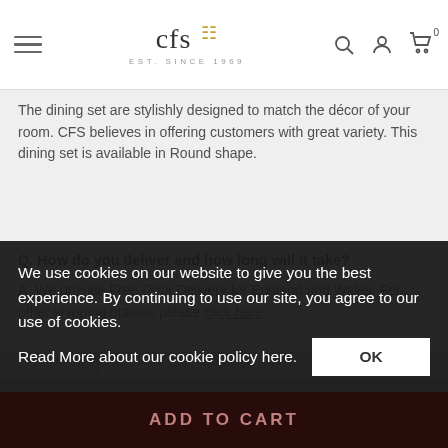CFS EST. SINCE 1969 — navigation bar with logo, search, account, cart icons
The dining set are stylishly designed to match the décor of your room. CFS believes in offering customers with great variety. This dining set is available in Round shape.
Q. How do you deliver and how long will it take?
A. We provide Free Door Delivery for England and Wales. For other shipping options please click here.
Q. Where is your store in the UK?
We use cookies on our website to give you the best experience. By continuing to use our site, you agree to our use of cookies. Read More about our cookie policy here.
ADD TO CART